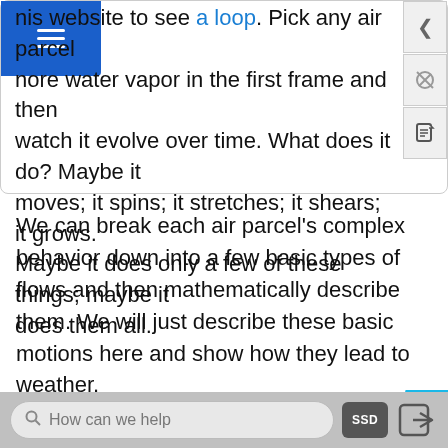his website to see a loop. Pick any air parcel more water vapor in the first frame and then watch it evolve over time. What does it do? Maybe it moves; it spins; it stretches; it shears; it grows. Maybe it does only a few of these things; maybe it does them all.
We can break each air parcel's complex behavior down into a few basic types of flows and then mathematically describe them. We will just describe these basic motions here and show how they lead to weather.
[Figure (illustration): Blue teardrop/blob shape partially visible at the bottom of the page]